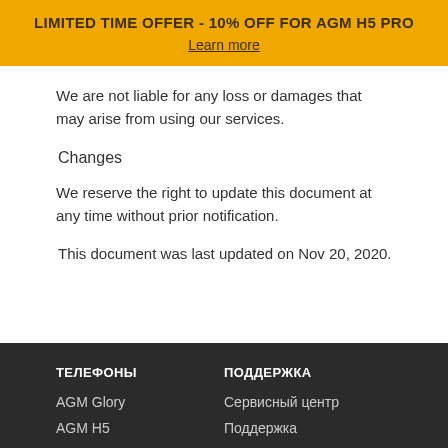LIMITED TIME OFFER - 10% OFF FOR AGM H5 PRO
Learn more
We are not liable for any loss or damages that may arise from using our services.
Changes
We reserve the right to update this document at any time without prior notification.
This document was last updated on Nov 20, 2020.
ТЕЛЕФОНЫ
AGM Glory
АGМ Н5

ПОДДЕРЖКА
Сервисный центр
Поддержка